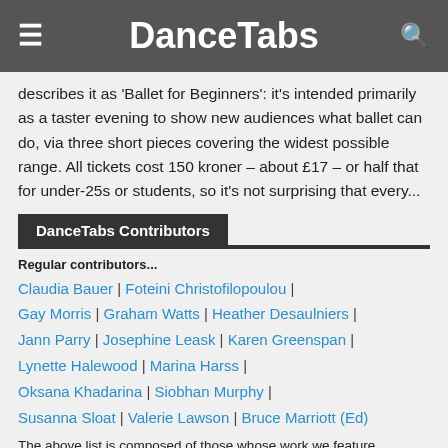DanceTabs
describes it as 'Ballet for Beginners': it's intended primarily as a taster evening to show new audiences what ballet can do, via three short pieces covering the widest possible range. All tickets cost 150 kroner – about £17 – or half that for under-25s or students, so it's not surprising that every...
DanceTabs Contributors
Regular contributors...
Claudia Bauer | Foteini Christofilopoulou | Gay Morris | Graham Watts | Heather Desaulniers | Jann Parry | Josephine Leask | Karen Greenspan | Lynette Halewood | Marina Harss | Oksana Khadarina | Siobhan Murphy | Susanna Sloat | Valerie Lawson | Bruce Marriott (Ed)
The above list is composed of those whose work we feature